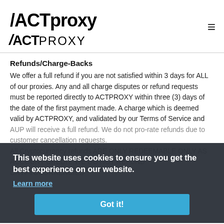ACTPROXY
Refunds/Charge-Backs
We offer a full refund if you are not satisfied within 3 days for ALL of our proxies. Any and all charge disputes or refund requests must be reported directly to ACTPROXY within three (3) days of the date of the first payment made. A charge which is deemed valid by ACTPROXY, and validated by our Terms of Service and AUP will receive a full refund. We do not pro-rate refunds due to customer cancellation requests. All Cryptocurrency refunds ARE ONLY REDEEMABLE ONLY AS ACCOUNT CREDIT. WE DO NOT REFUND CRYPTOCURRENCIES
VIOLATIONS OF ACTPROXY'S/ACCEPTABLE USE POLICY Could result in suspended or termination. Examples of what ACTPROXY considers non-acceptable content
This website uses cookies to ensure you get the best experience on our website. Learn more Got it!